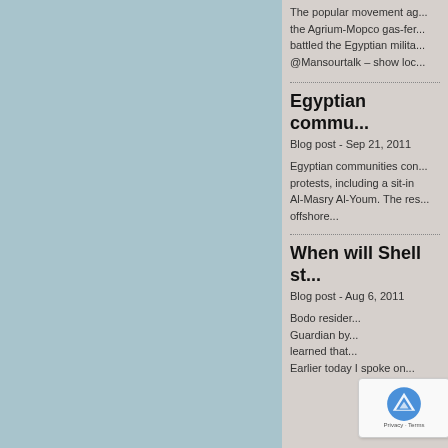The popular movement ag... the Agrium-Mopco gas-fer... battled the Egyptian milita... @Mansourtalk – show loc...
Egyptian commu...
Blog post - Sep 21, 2011
Egyptian communities con... protests, including a sit-in Al-Masry Al-Youm. The res... offshore...
When will Shell st...
Blog post - Aug 6, 2011
Bodo resider... Guardian by... learned that... Earlier today I spoke on...